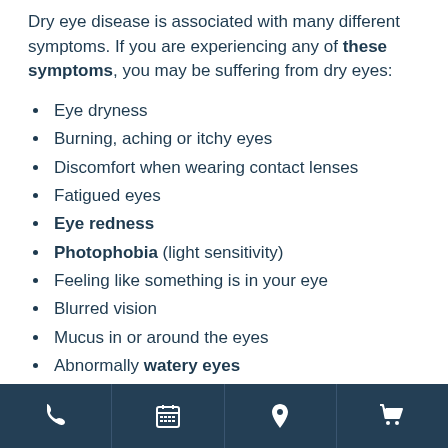Dry eye disease is associated with many different symptoms. If you are experiencing any of these symptoms, you may be suffering from dry eyes:
Eye dryness
Burning, aching or itchy eyes
Discomfort when wearing contact lenses
Fatigued eyes
Eye redness
Photophobia (light sensitivity)
Feeling like something is in your eye
Blurred vision
Mucus in or around the eyes
Abnormally watery eyes
Phone | Calendar | Location | Cart